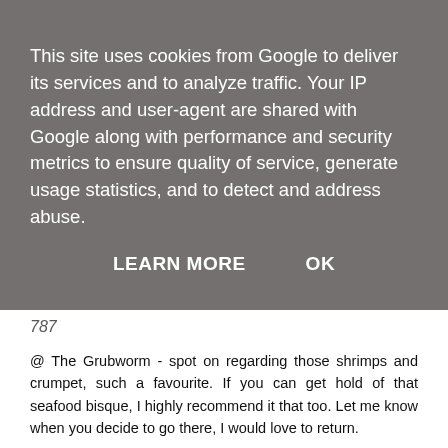This site uses cookies from Google to deliver its services and to analyze traffic. Your IP address and user-agent are shared with Google along with performance and security metrics to ensure quality of service, generate usage statistics, and to detect and address abuse.
LEARN MORE   OK
787
@ The Grubworm - spot on regarding those shrimps and crumpet, such a favourite. If you can get hold of that seafood bisque, I highly recommend it that too. Let me know when you decide to go there, I would love to return.
@ TomEats - Hey Tom, great to hear from you. It was quite a challenge to take those pictures and very few were actually usable, thanks. I was aware that it had been bought out in 2007 by Malmaison which was in fact a good thing and I am so glad it is still here today.
@ Simon - Hi Simon, nice to see you here mate! Yes, the shrimps and crumpets are such a great combo, the burger